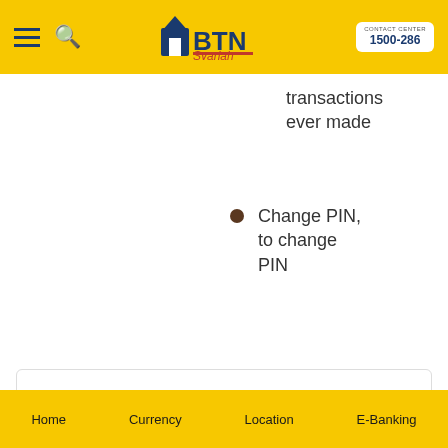BTN Syariah — 1500-286
transactions ever made
Change PIN, to change PIN
Terms and Condition
Home   Currency   Location   E-Banking